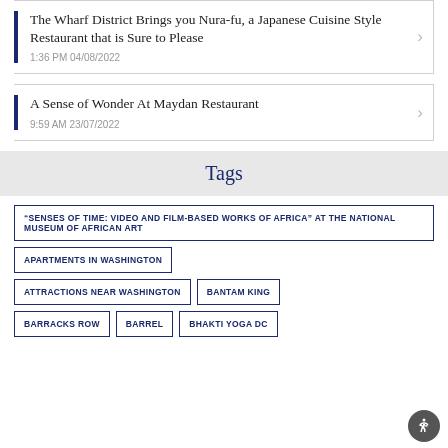The Wharf District Brings you Nura-fu, a Japanese Cuisine Style Restaurant that is Sure to Please
1:36 PM 04/08/2022
A Sense of Wonder At Maydan Restaurant
9:59 AM 23/07/2022
Tags
"SENSES OF TIME: VIDEO AND FILM-BASED WORKS OF AFRICA" AT THE NATIONAL MUSEUM OF AFRICAN ART
APARTMENTS IN WASHINGTON
ATTRACTIONS NEAR WASHINGTON
BANTAM KING
BARRACKS ROW
BARREL
BHAKTI YOGA DC